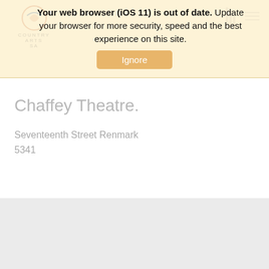Your web browser (iOS 11) is out of date. Update your browser for more security, speed and the best experience on this site. [Ignore]
Chaffey Theatre.
Seventeenth Street Renmark
5341